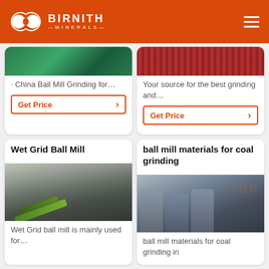BIRNITH MINERALS
· China Ball Mill Grinding for…
Your source for the best grinding and…
Get Price
Get Price
Wet Grid Ball Mill
[Figure (photo): Industrial wet grid ball mill machine in a factory setting with green conveyor equipment]
Wet Grid ball mill is mainly used for…
ball mill materials for coal grinding
[Figure (photo): Large grey ball mill machines for coal grinding in an industrial facility]
ball mill materials for coal grinding in